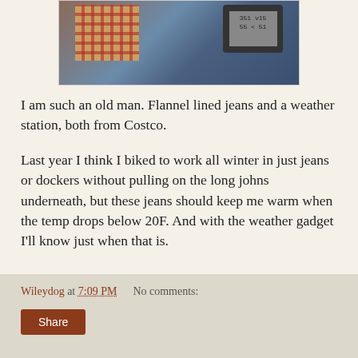[Figure (photo): Photo of flannel lined jeans and a weather station gadget on a surface, both from Costco.]
I am such an old man. Flannel lined jeans and a weather station, both from Costco.
Last year I think I biked to work all winter in just jeans or dockers without pulling on the long johns underneath, but these jeans should keep me warm when the temp drops below 20F.  And with the weather gadget I'll know just when that is.
Wileydog at 7:09 PM    No comments:
Share